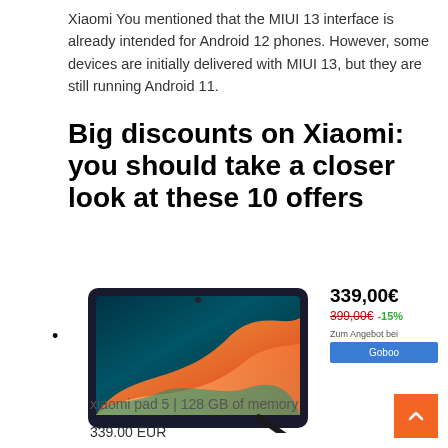Xiaomi You mentioned that the MIUI 13 interface is already intended for Android 12 phones. However, some devices are initially delivered with MIUI 13, but they are still running Android 11.
Big discounts on Xiaomi: you should take a closer look at these 10 offers
[Figure (photo): Xiaomi Pad 5 tablet with stylus pen, showing colorful MIUI wallpaper on screen, with price panel showing 339,00€ (was 399,00€ -15%) and a Goboo purchase button]
xiaomi pad 5 | 128 GB of memory
339.00 EUR